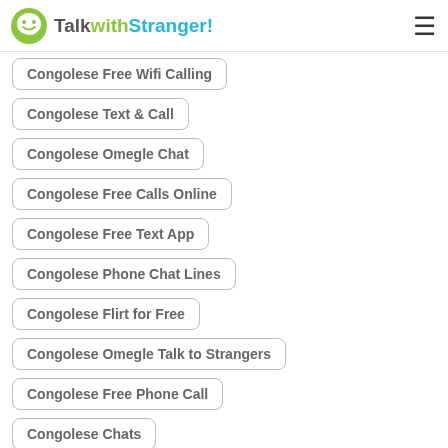TalkwithStranger!
Congolese Free Wifi Calling
Congolese Text & Call
Congolese Omegle Chat
Congolese Free Calls Online
Congolese Free Text App
Congolese Phone Chat Lines
Congolese Flirt for Free
Congolese Omegle Talk to Strangers
Congolese Free Phone Call
Congolese Chats
Congolese Chatrandom Gay